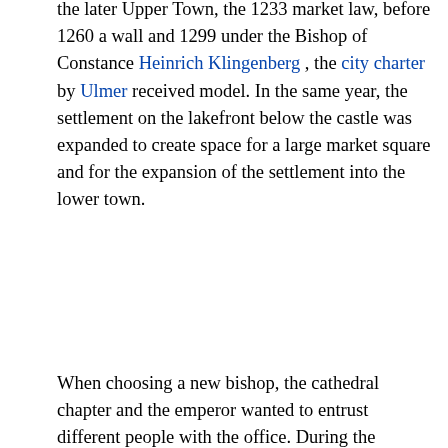the later Upper Town, the 1233 market law, before 1260 a wall and 1299 under the Bishop of Constance Heinrich Klingenberg , the city charter by Ulmer received model. In the same year, the settlement on the lakefront below the castle was expanded to create space for a large market square and for the expansion of the settlement into the lower town.
When choosing a new bishop, the cathedral chapter and the emperor wanted to entrust different people with the office. During the "bishop's feud" in 1334, the city was unsuccessfully besieged with fire guns by the imperial army of Emperor Ludwig the Bavarian .
Disputes between the citizenship and the city lord, Bishop Heinrich IV. Von Hewen, about the more free design of the city constitution through "city rights struggles" ended in 1458
[Figure (screenshot): Advertisement banner for BitLife - Life Simulator app with install button]